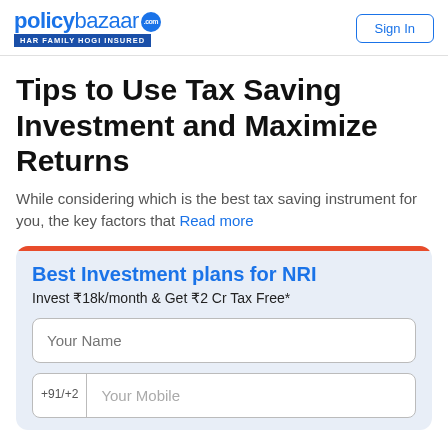policybazaar.com HAR FAMILY HOGI INSURED | Sign In
Tips to Use Tax Saving Investment and Maximize Returns
While considering which is the best tax saving instrument for you, the key factors that Read more
Best Investment plans for NRI
Invest ₹18k/month & Get ₹2 Cr Tax Free*
Your Name
+91/+2 | Your Mobile